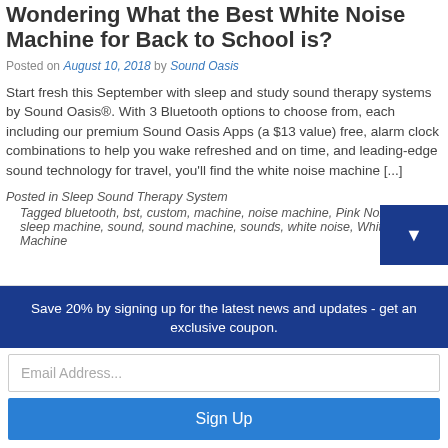Wondering What the Best White Noise Machine for Back to School is?
Posted on August 10, 2018 by Sound Oasis
Start fresh this September with sleep and study sound therapy systems by Sound Oasis®. With 3 Bluetooth options to choose from, each including our premium Sound Oasis Apps (a $13 value) free, alarm clock combinations to help you wake refreshed and on time, and leading-edge sound technology for travel, you'll find the white noise machine [...]
Posted in Sleep Sound Therapy System
Tagged bluetooth, bst, custom, machine, noise machine, Pink Noise, sleep, sleep machine, sound, sound machine, sounds, white noise, White Noise Machine
Save 20% by signing up for the latest news and updates - get an exclusive coupon.
Email Address...
Sign Up